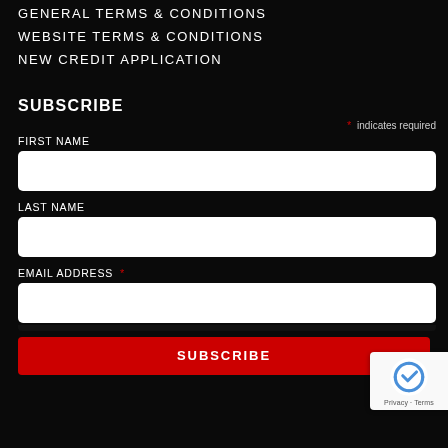GENERAL TERMS & CONDITIONS
WEBSITE TERMS & CONDITIONS
NEW CREDIT APPLICATION
SUBSCRIBE
* indicates required
FIRST NAME
LAST NAME
EMAIL ADDRESS *
SUBSCRIBE